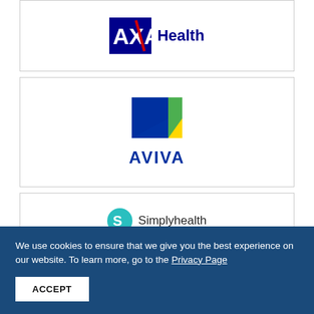[Figure (logo): AXA Health logo — red and blue AXA chevron mark with 'Health' text in dark blue bold]
[Figure (logo): Aviva logo — blue and green stylized bird/chevron icon above bold dark-blue AVIVA wordmark]
[Figure (logo): Simplyhealth logo — teal circular S icon beside 'Simplyhealth' wordmark in dark text]
We use cookies to ensure that we give you the best experience on our website. To learn more, go to the Privacy Page
ACCEPT